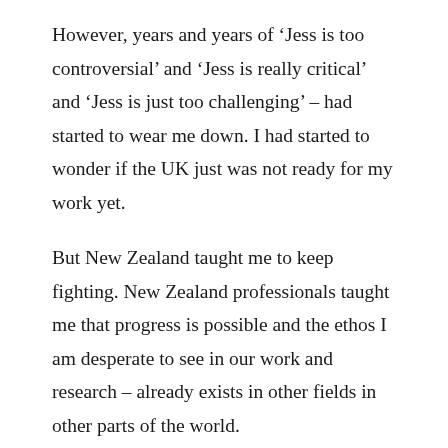However, years and years of ‘Jess is too controversial’ and ‘Jess is really critical’ and ‘Jess is just too challenging’ – had started to wear me down. I had started to wonder if the UK just was not ready for my work yet.
But New Zealand taught me to keep fighting. New Zealand professionals taught me that progress is possible and the ethos I am desperate to see in our work and research – already exists in other fields in other parts of the world.
At the end of one of my workshops, the professionals stood up and sang Maori thank you song, ‘Te Aroha’.
I burst into tears. The beauty of a room of people deciding to show gratitude in such a beautiful and